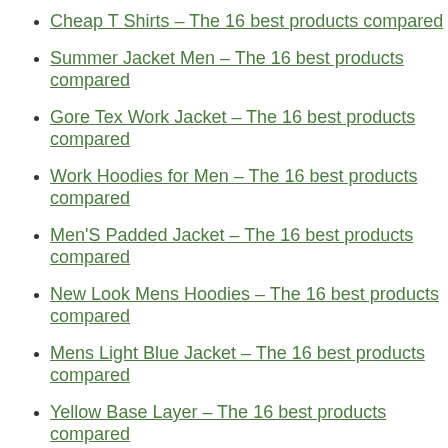Cheap T Shirts – The 16 best products compared
Summer Jacket Men – The 16 best products compared
Gore Tex Work Jacket – The 16 best products compared
Work Hoodies for Men – The 16 best products compared
Men'S Padded Jacket – The 16 best products compared
New Look Mens Hoodies – The 16 best products compared
Mens Light Blue Jacket – The 16 best products compared
Yellow Base Layer – The 16 best products compared